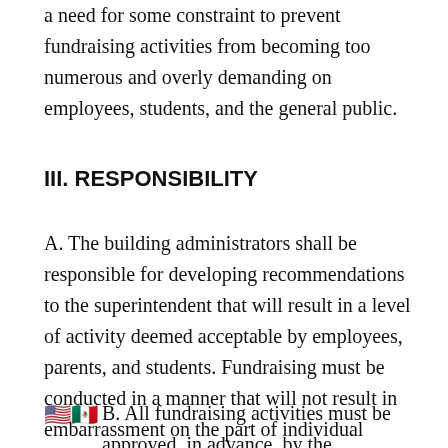a need for some constraint to prevent fundraising activities from becoming too numerous and overly demanding on employees, students, and the general public.
III. RESPONSIBILITY
A. The building administrators shall be responsible for developing recommendations to the superintendent that will result in a level of activity deemed acceptable by employees, parents, and students. Fundraising must be conducted in a manner that will not result in embarrassment on the part of individual students, employees, or the school.
B. All fundraising activities must be approved, in advance, by the administration.